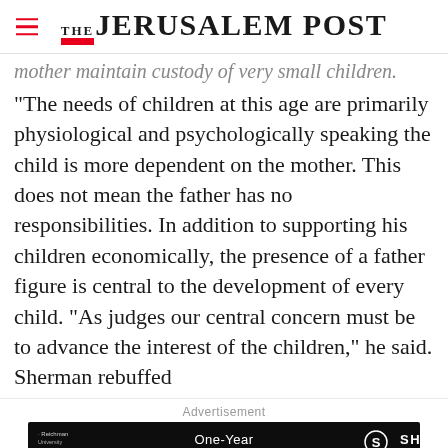THE JERUSALEM POST
mother maintain custody of very small children.
"The needs of children at this age are primarily physiological and psychologically speaking the child is more dependent on the mother. This does not mean the father has no responsibilities. In addition to supporting his children economically, the presence of a father figure is central to the development of every child. "As judges our central concern must be to advance the interest of the children," he said. Sherman rebuffed
Advertisement
[Figure (infographic): Advertisement banner for One-Year MBA in Healthcare, featuring Reichman University Applied Research International School and SHEBA logos on dark background]